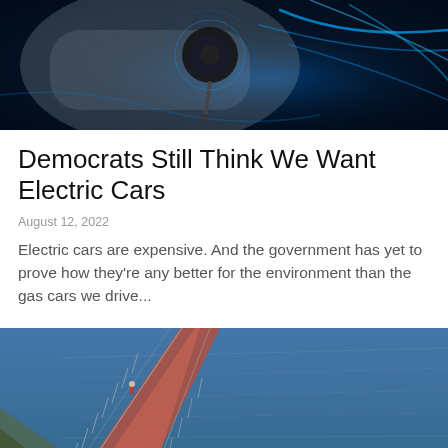[Figure (photo): Electric vehicle charging port with glowing blue light trails on dark background]
Democrats Still Think We Want Electric Cars
August 12, 2022
Electric cars are expensive. And the government has yet to prove how they're any better for the environment than the gas cars we drive...
[Figure (photo): Aerial view of a coastal road or bridge with water on one side and structured fencing on both sides]